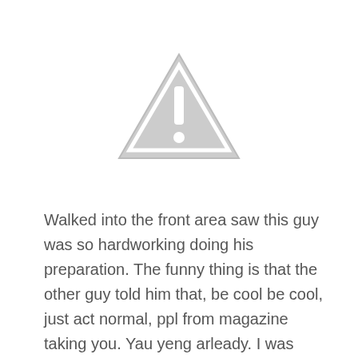[Figure (illustration): A gray warning triangle icon with an exclamation mark in the center]
Walked into the front area saw this guy was so hardworking doing his preparation. The funny thing is that the other guy told him that, be cool be cool, just act normal, ppl from magazine taking you. Yau yeng arleady. I was laughing inside my heart and walking in after that.